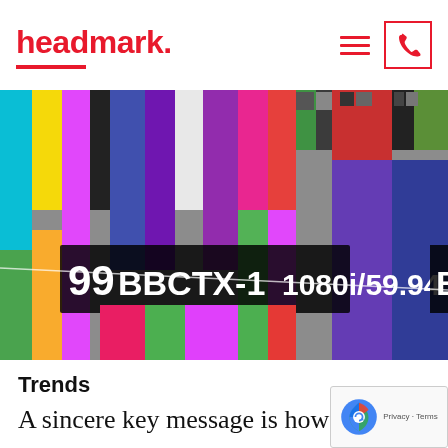headmark.
[Figure (photo): TV broadcast test card showing color bars with text overlays 'BBCTX-1', '1080i/59.94', 'BBCT', and '99', with vivid colored vertical stripes including cyan, magenta, green, red, yellow, blue, black, and white. The image is slightly blurred.]
Trends
A sincere key message is how you wi